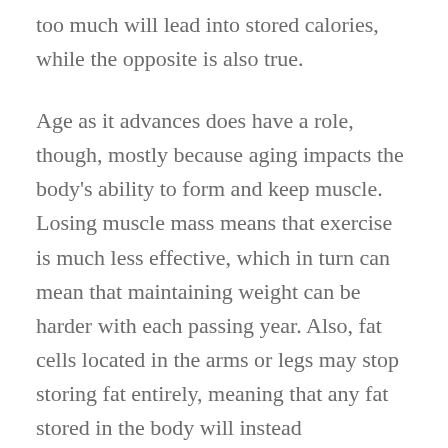too much will lead into stored calories, while the opposite is also true.
Age as it advances does have a role, though, mostly because aging impacts the body's ability to form and keep muscle. Losing muscle mass means that exercise is much less effective, which in turn can mean that maintaining weight can be harder with each passing year. Also, fat cells located in the arms or legs may stop storing fat entirely, meaning that any fat stored in the body will instead